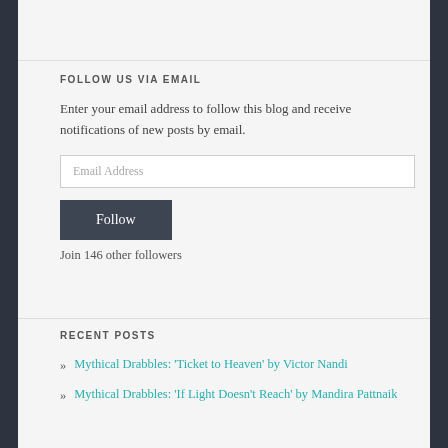FOLLOW US VIA EMAIL
Enter your email address to follow this blog and receive notifications of new posts by email.
Join 146 other followers
RECENT POSTS
Mythical Drabbles: 'Ticket to Heaven' by Victor Nandi
Mythical Drabbles: 'If Light Doesn't Reach' by Mandira Pattnaik